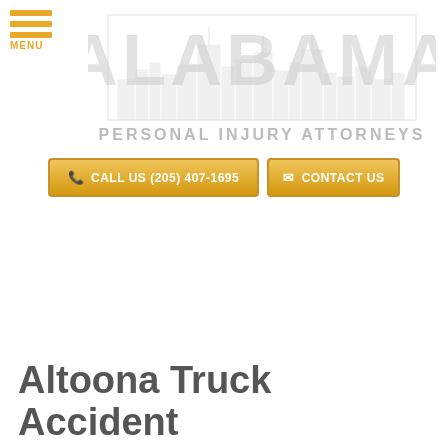[Figure (logo): Alabama Personal Injury Attorneys logo with cityscape silhouette and large ALABAMA text watermark]
CALL US (205) 407-1695
CONTACT US
Altoona Truck Accident